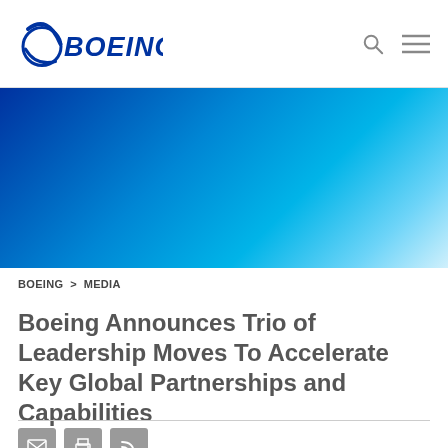BOEING [logo] [search icon] [menu icon]
[Figure (illustration): Boeing website hero banner with blue gradient from dark blue on left to light cyan on right]
BOEING > MEDIA
Boeing Announces Trio of Leadership Moves To Accelerate Key Global Partnerships and Capabilities
[Figure (other): Social share icons: email, print, RSS feed, and a partial PDF/document icon below]